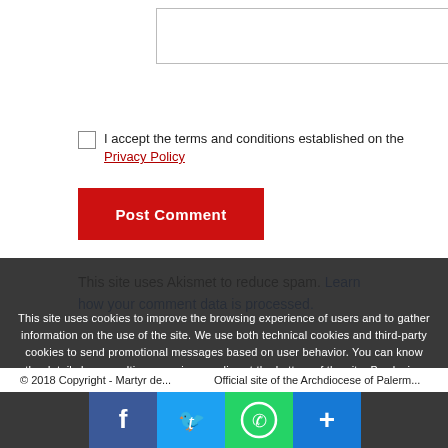[Figure (screenshot): Textarea input box with resize handle]
I accept the terms and conditions established on the Privacy Policy
Post Comment
This site uses Akismet to reduce spam. Learn how your comment data is processed.
This site uses cookies to improve the browsing experience of users and to gather information on the use of the site. We use both technical cookies and third-party cookies to send promotional messages based on user behavior. You can know the details by consulting our privacy policy at the bottom of the site. By closing this banner you accept the use of cookies; otherwise you can leave the site.
© 2018 Copyright - Martyr de... Official site of the Archdiocese of Palermo...
[Figure (screenshot): Social share icons: Facebook, Twitter, WhatsApp, More]